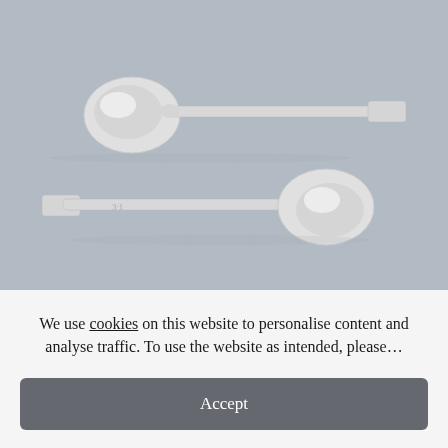[Figure (photo): Two Victorian silver sauce toddy ladles photographed on a grey background. The upper ladle points right with a flat handle and round bowl. The lower ladle points left with a flat handle with a monogram engraved on it and a round bowl on the right.]
Pair Victorian Scottish Silver Sauce Toddy Ladles Glasgow 1861
The Fancy Fox
We use cookies on this website to personalise content and analyse traffic. To use the website as intended, please...
Accept